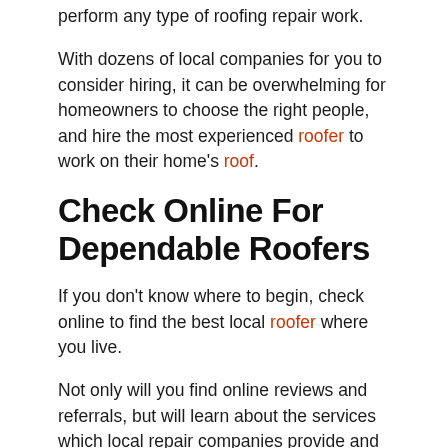perform any type of roofing repair work.
With dozens of local companies for you to consider hiring, it can be overwhelming for homeowners to choose the right people, and hire the most experienced roofer to work on their home's roof.
Check Online For Dependable Roofers
If you don't know where to begin, check online to find the best local roofer where you live.
Not only will you find online reviews and referrals, but will learn about the services which local repair companies provide and find licensed, qualified roofers to work on your home's roof.
L...